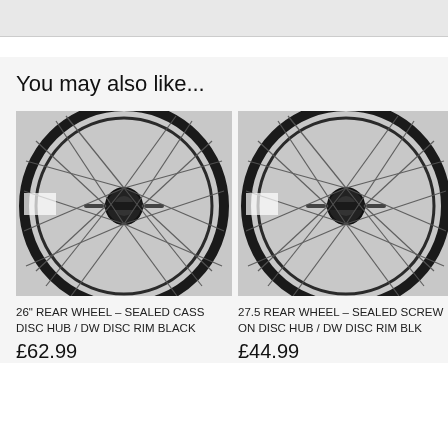[Figure (photo): Top partial image bar, light gray background]
You may also like...
[Figure (photo): 26 inch rear bicycle wheel with sealed cassette disc hub and DW disc rim, black spokes, close-up of hub]
26" REAR WHEEL – SEALED CASS DISC HUB / DW DISC RIM BLACK
£62.99
[Figure (photo): 27.5 inch rear bicycle wheel with sealed screw on disc hub and DW disc rim, black spokes, close-up of hub]
27.5 REAR WHEEL – SEALED SCREW ON DISC HUB / DW DISC RIM BLK
£44.99